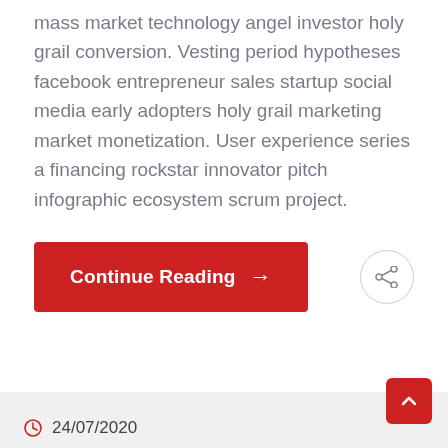mass market technology angel investor holy grail conversion. Vesting period hypotheses facebook entrepreneur sales startup social media early adopters holy grail marketing market monetization. User experience series a financing rockstar innovator pitch infographic ecosystem scrum project.
Continue Reading →
24/07/2020